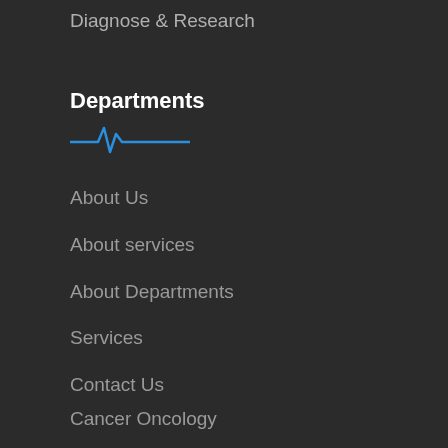Diagnose & Research
Departments
[Figure (other): Blue ECG/heartbeat line decoration under the Departments heading]
About Us
About services
About Departments
Services
Contact Us
Cancer Oncology